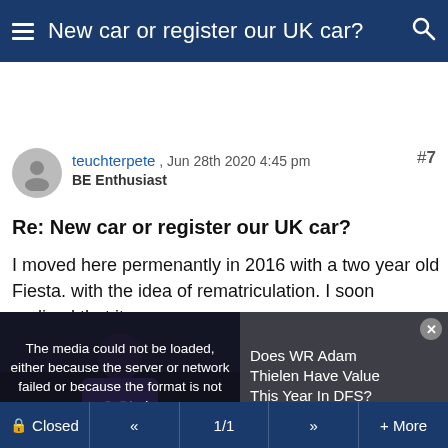New car or register our UK car?
teuchterpete , Jun 28th 2020 4:45 pm
BE Enthusiast
Re: New car or register our UK car?
I moved here permenantly in 2016 with a two year old Fiesta. with the idea of rematriculation. I soon realised that it
[Figure (screenshot): Media player error overlay on a football player image showing jersey number 19, with message: The media could not be loaded, either because the server or network failed or because the format is not supported. Overlaid advertisement text: Does WR Adam Thielen Have Value This Year In DFS?]
Closed  «  1/1  »  + More